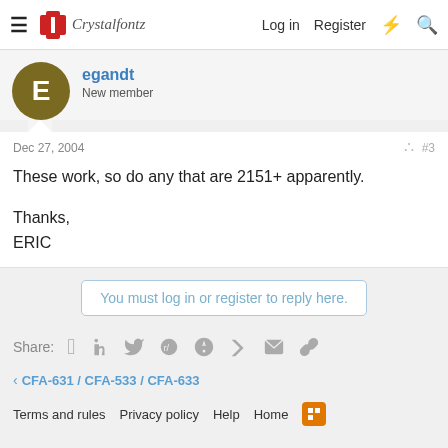Crystalfontz — Log in   Register
egandt
New member
Dec 27, 2004
#3
These work, so do any that are 2151+ apparently.

Thanks,
ERIC
You must log in or register to reply here.
Share:
< CFA-631 / CFA-533 / CFA-633
Terms and rules   Privacy policy   Help   Home